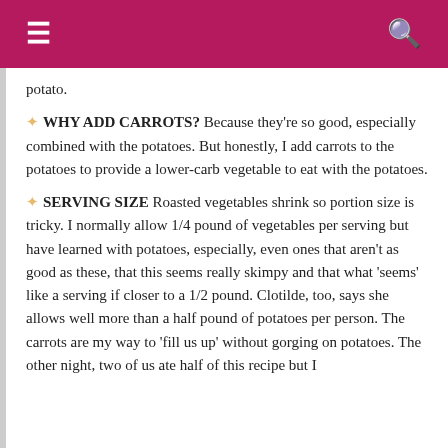≡  [search icon]
potato.
❖ WHY ADD CARROTS? Because they're so good, especially combined with the potatoes. But honestly, I add carrots to the potatoes to provide a lower-carb vegetable to eat with the potatoes.
❖ SERVING SIZE Roasted vegetables shrink so portion size is tricky. I normally allow 1/4 pound of vegetables per serving but have learned with potatoes, especially, even ones that aren't as good as these, that this seems really skimpy and that what 'seems' like a serving if closer to a 1/2 pound. Clotilde, too, says she allows well more than a half pound of potatoes per person. The carrots are my way to 'fill us up' without gorging on potatoes. The other night, two of us ate half of this recipe but I